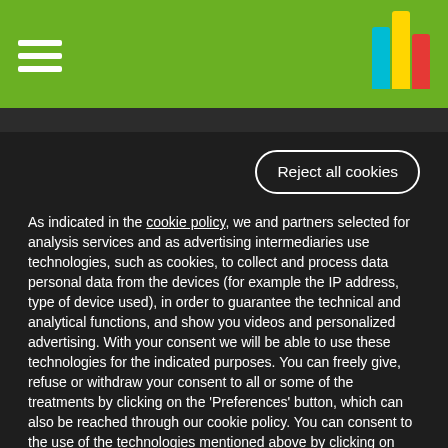Navigation menu and logo
Reject all cookies
As indicated in the cookie policy, we and partners selected for analysis services and as advertising intermediaries use technologies, such as cookies, to collect and process data personal data from the devices (for example the IP address, type of device used), in order to guarantee the technical and analytical functions, and show you videos and personalized advertising. With your consent we will be able to use these technologies for the indicated purposes. You can freely give, refuse or withdraw your consent to all or some of the treatments by clicking on the 'Preferences' button, which can also be reached through our cookie policy. You can consent to the use of the technologies mentioned above by clicking on 'Accept' or refuse their use by clicking on 'Reject all cookies'.
Cookie Settings
Accept all cookies